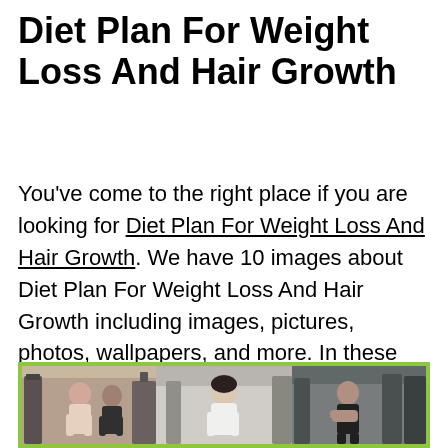Diet Plan For Weight Loss And Hair Growth
You’ve come to the right place if you are looking for Diet Plan For Weight Loss And Hair Growth. We have 10 images about Diet Plan For Weight Loss And Hair Growth including images, pictures, photos, wallpapers, and more. In these page, we also have variety of images available. Such as png, jpg, animated gif, pic art, logo, black and white, transparent, etc.
[Figure (photo): Three-panel collage of women exercising in a gym, bordered with a lime green frame]